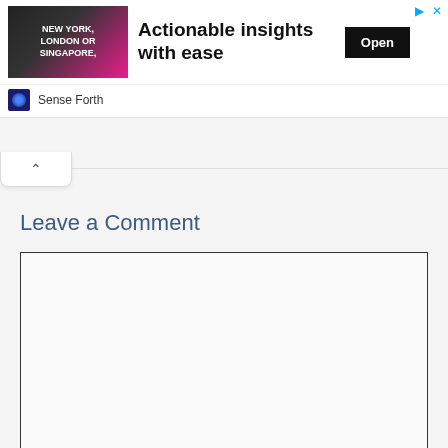[Figure (screenshot): Advertisement banner for Sense Forth showing 'Actionable insights with ease' with an Open button and close/skip controls]
Sense Forth
Leave a Comment